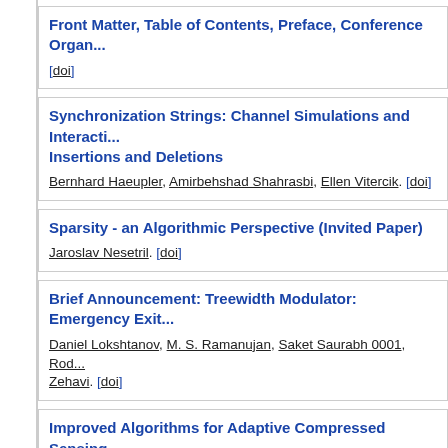Front Matter, Table of Contents, Preface, Conference Organ...
[doi]
Synchronization Strings: Channel Simulations and Interacti... Insertions and Deletions
Bernhard Haeupler, Amirbehshad Shahrasbi, Ellen Vitercik. [doi]
Sparsity - an Algorithmic Perspective (Invited Paper)
Jaroslav Nesetril. [doi]
Brief Announcement: Treewidth Modulator: Emergency Exit...
Daniel Lokshtanov, M. S. Ramanujan, Saket Saurabh 0001, Rod... Zehavi. [doi]
Improved Algorithms for Adaptive Compressed Sensing
Vasileios Nakos, Xiaofei Shi, David P. Woodruff, Hongyang Zha...
Lower Bounds by Algorithm Design: A Progress Report (In...